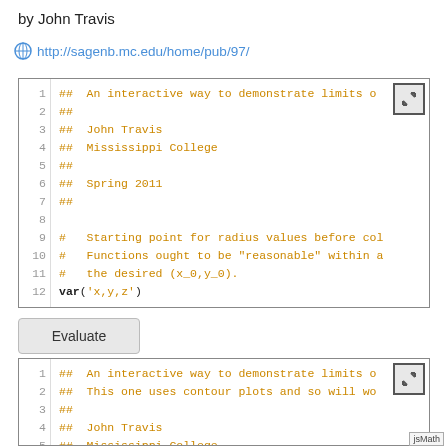by John Travis
http://sagenb.mc.edu/home/pub/97/
[Figure (screenshot): Code editor box 1 with line numbers 1-12 showing Python/Sage code with ## comments (John Travis, Mississippi College, Spring 2011) and single # comments about radius values and var('x,y,z'). Has expand button in top-right.]
Evaluate
[Figure (screenshot): Code editor box 2 with line numbers 1-6 showing ## comments including 'An interactive way to demonstrate limits o', 'This one uses contour plots and so will wo', and John Travis / Mississippi College. Has expand button in top-right and jsMath badge bottom-right.]